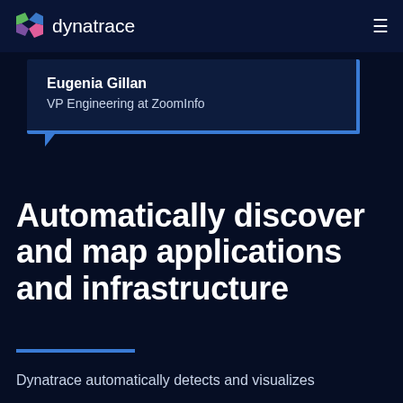dynatrace
Eugenia Gillan
VP Engineering at ZoomInfo
Automatically discover and map applications and infrastructure
Dynatrace automatically detects and visualizes